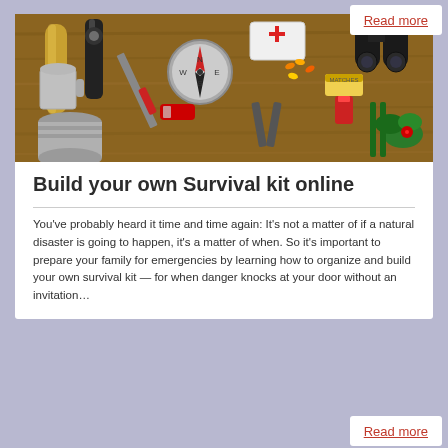Read more
[Figure (photo): Overhead view of survival kit items laid out on a wooden surface: compass, flashlight, binoculars, first aid kit, medication, matches, lighter, Swiss army knife, canned food, cup, rope or candle, and a plant with red berries.]
Build your own Survival kit online
You've probably heard it time and time again: It's not a matter of if a natural disaster is going to happen, it's a matter of when. So it's important to prepare your family for emergencies by learning how to organize and build your own survival kit — for when danger knocks at your door without an invitation…
Read more